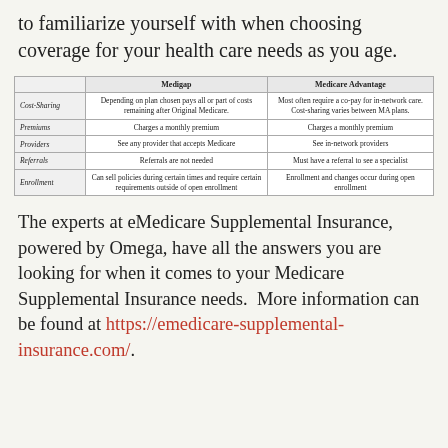to familiarize yourself with when choosing coverage for your health care needs as you age.
|  | Medigap | Medicare Advantage |
| --- | --- | --- |
| Cost-Sharing | Depending on plan chosen pays all or part of costs remaining after Original Medicare. | Most often require a co-pay for in-network care. Cost-sharing varies between MA plans. |
| Premiums | Charges a monthly premium | Charges a monthly premium |
| Providers | See any provider that accepts Medicare | See in-network providers |
| Referrals | Referrals are not needed | Must have a referral to see a specialist |
| Enrollment | Can sell policies during certain times and require certain requirements outside of open enrollment | Enrollment and changes occur during open enrollment |
The experts at eMedicare Supplemental Insurance, powered by Omega, have all the answers you are looking for when it comes to your Medicare Supplemental Insurance needs. More information can be found at https://emedicare-supplemental-insurance.com/.